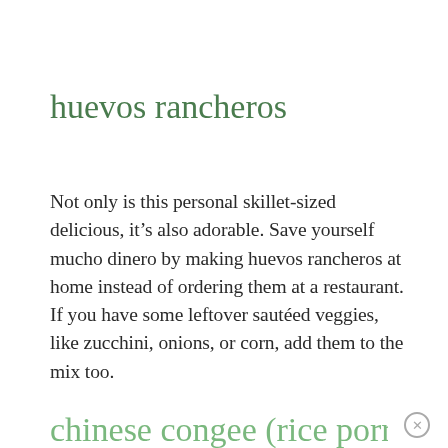huevos rancheros
Not only is this personal skillet-sized delicious, it’s also adorable. Save yourself mucho dinero by making huevos rancheros at home instead of ordering them at a restaurant. If you have some leftover sautéed veggies, like zucchini, onions, or corn, add them to the mix too.
chinese congee (rice porridge)